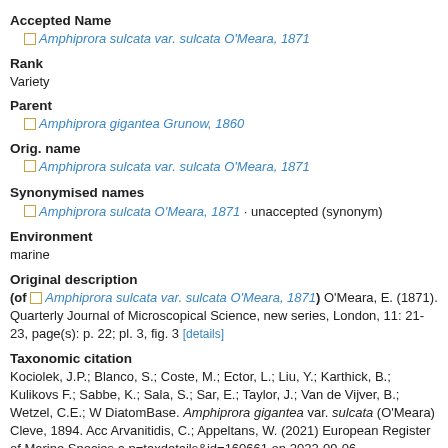Accepted Name
Amphiprora sulcata var. sulcata O'Meara, 1871
Rank
Variety
Parent
Amphiprora gigantea Grunow, 1860
Orig. name
Amphiprora sulcata var. sulcata O'Meara, 1871
Synonymised names
Amphiprora sulcata O'Meara, 1871 · unaccepted (synonym)
Environment
marine
Original description
(of  Amphiprora sulcata var. sulcata O'Meara, 1871) O'Meara, E. (1871). Quarterly Journal of Microscopical Science, new series, London, 11: 21-23, page(s): p. 22; pl. 3, fig. 3 [details]
Taxonomic citation
Kociolek, J.P.; Blanco, S.; Coste, M.; Ector, L.; Liu, Y.; Karthick, B.; Kulikovs F.; Sabbe, K.; Sala, S.; Sar, E.; Taylor, J.; Van de Vijver, B.; Wetzel, C.E.; W DiatomBase. Amphiprora gigantea var. sulcata (O'Meara) Cleve, 1894. Acc Arvanitidis, C.; Appeltans, W. (2021) European Register of Marine Species a p=taxdetails&id=160661 on 2022-09-06